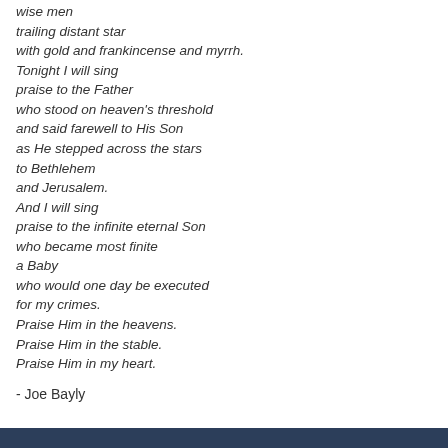wise men
trailing distant star
with gold and frankincense and myrrh.
Tonight I will sing
praise to the Father
who stood on heaven's threshold
and said farewell to His Son
as He stepped across the stars
to Bethlehem
and Jerusalem.
And I will sing
praise to the infinite eternal Son
who became most finite
a Baby
who would one day be executed
for my crimes.
Praise Him in the heavens.
Praise Him in the stable.
Praise Him in my heart.
- Joe Bayly